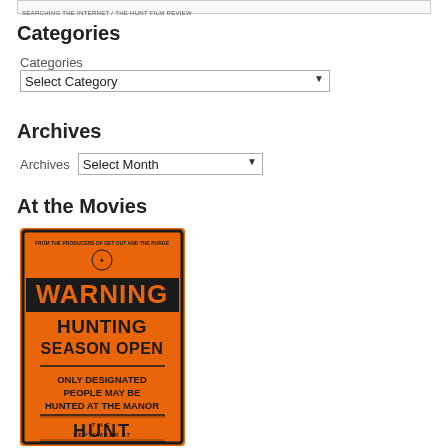SEARCHING THE INTERNET / THE HUNT FILM REVIEW
Categories
Categories
Select Category
Archives
Archives  Select Month
At the Movies
[Figure (photo): Movie poster for 'The Hunt' (September 27) showing an orange warning sign that reads: WARNING HUNTING SEASON OPEN / ONLY DESIGNATED PEOPLE MAY BE HUNTED AT THE MANOR / THE HUNT / SEPTEMBER 27. Small text at top reads 'FROM THE PRODUCERS OF GET OUT AND THE PURGE'.]